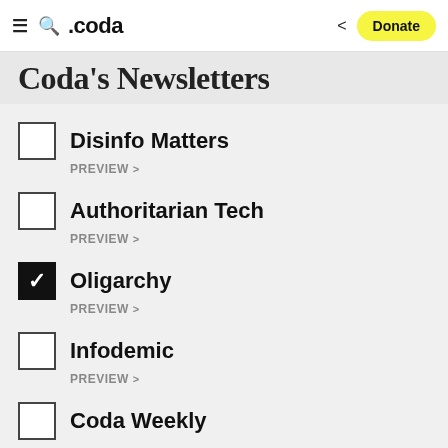≡ 🔍 .coda  < Donate
Coda's Newsletters
Disinfo Matters
PREVIEW >
Authoritarian Tech
PREVIEW >
Oligarchy
PREVIEW >
Infodemic
PREVIEW >
Coda Weekly
Updates from Coda